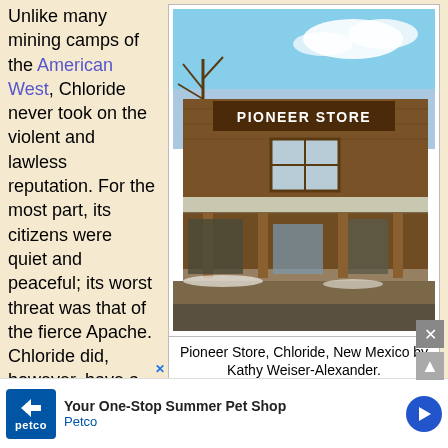Unlike many mining camps of the American West, Chloride never took on the violent and lawless reputation. For the most part, its citizens were quiet and peaceful; its worst threat was that of the fierce Apache. Chloride did, however, have a large tree they ca... th... sh...
[Figure (photo): Two-story wooden Pioneer Store building in Chloride, New Mexico, with a large sign reading PIONEER STORE across the front facade. Snow patches visible on the ground. A covered porch with wooden posts is on the ground floor.]
Pioneer Store, Chloride, New Mexico by Kathy Weiser-Alexander.
[Figure (infographic): Advertisement banner for Petco: 'Your One-Stop Summer Pet Shop' with Petco logo and navigation arrow icon.]